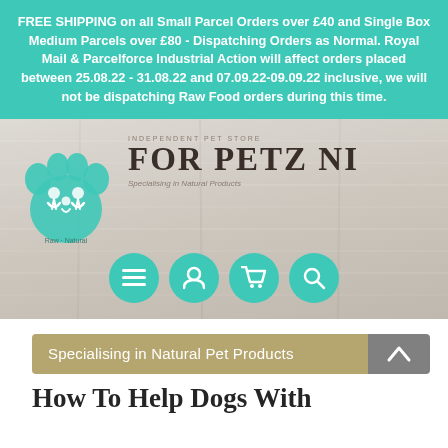FREE SHIPPING on all Small Parcel Orders over £40 and Single Box Medium Parcels over £80 - Dispatching Orders as Normal. Royal Mail & Parcelforce Industrial Action will affect orders placed between 25.08.22 - 31.08.22 and 07.09.22-09.09.22 inclusive, we will not be dispatching Raw Food orders during this time.
[Figure (logo): For Petz NI logo: teal paw print with people silhouettes inside, beside bold serif text FOR PETZ NI with tagline 'Specialising in Natural Products', on a light wood-grain background. Navigation icons (menu, user, cart, search) in teal circles below.]
Specialising in Natural Pet Products
How To Help Dogs With